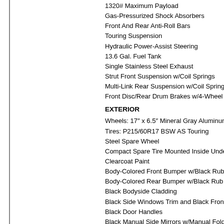1320# Maximum Payload
Gas-Pressurized Shock Absorbers
Front And Rear Anti-Roll Bars
Touring Suspension
Hydraulic Power-Assist Steering
13.6 Gal. Fuel Tank
Single Stainless Steel Exhaust
Strut Front Suspension w/Coil Springs
Multi-Link Rear Suspension w/Coil Springs
Front Disc/Rear Drum Brakes w/4-Wheel AB
EXTERIOR
Wheels: 17" x 6.5" Mineral Gray Aluminum
Tires: P215/60R17 BSW AS Touring
Steel Spare Wheel
Compact Spare Tire Mounted Inside Under C
Clearcoat Paint
Body-Colored Front Bumper w/Black Rub St
Body-Colored Rear Bumper w/Black Rub St
Black Bodyside Cladding
Black Side Windows Trim and Black Front W
Black Door Handles
Black Manual Side Mirrors w/Manual Folding
Fixed Rear Window w/Fixed Interval Wiper a
Deep Tinted Glass
Variable Intermittent Wipers
Fully Galvanized Steel Panels
Body-Colored Grille
Liftgate Rear Cargo Access
Manual Tailgate/Rear Door Lock
Aero Composite Halogen Headlamps